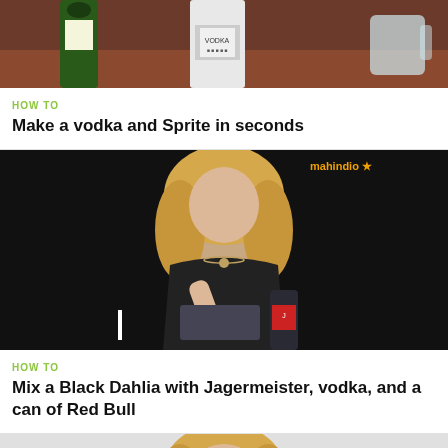[Figure (photo): Video thumbnail showing bottles of Sprite and vodka on a table]
HOW TO
Make a vodka and Sprite in seconds
[Figure (photo): Video thumbnail showing a blonde woman in a black dress pouring a drink with Jagermeister bottle visible, mahindio watermark in top right]
HOW TO
Mix a Black Dahlia with Jagermeister, vodka, and a can of Red Bull
[Figure (photo): Partial video thumbnail showing a blonde woman, cropped at bottom of page]